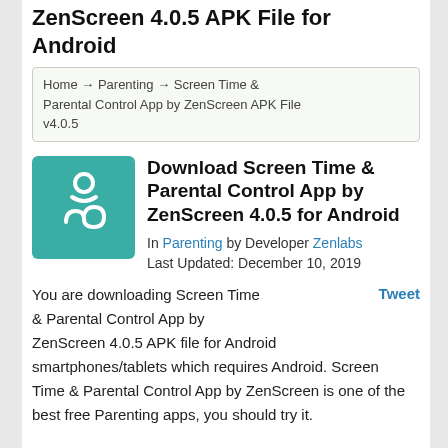ZenScreen 4.0.5 APK File for Android
Home → Parenting → Screen Time & Parental Control App by ZenScreen APK File v4.0.5
Download Screen Time & Parental Control App by ZenScreen 4.0.5 for Android
In Parenting by Developer Zenlabs
Last Updated: December 10, 2019
You are downloading Screen Time & Parental Control App by ZenScreen 4.0.5 APK file for Android smartphones/tablets which requires Android. Screen Time & Parental Control App by ZenScreen is one of the best free Parenting apps, you should try it.
Tweet